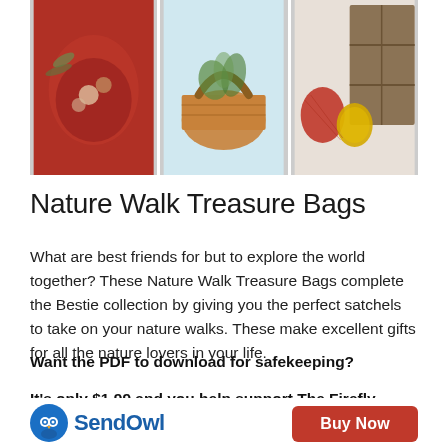[Figure (photo): Three photos showing crochet bags: a red mesh bag with nature items, a wicker basket with plants, and red and yellow crochet bags on a shelf]
Nature Walk Treasure Bags
What are best friends for but to explore the world together? These Nature Walk Treasure Bags complete the Bestie collection by giving you the perfect satchels to take on your nature walks. These make excellent gifts for all the nature lovers in your life.
Want the PDF to download for safekeeping?

It's only $1.99 and you help support The Firefly Hook!
[Figure (logo): SendOwl logo with blue owl icon and text, and a red Buy Now button]